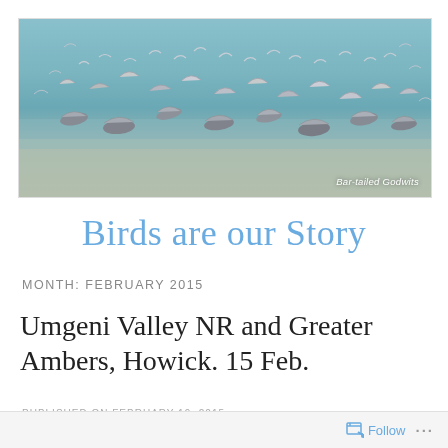[Figure (photo): A large flock of Bar-tailed Godwits in flight over a beach/water scene, birds scattered across the frame in various stages of flight, with a label 'Bar-tailed Godwits' in the lower right corner]
Birds are our Story
MONTH: FEBRUARY 2015
Umgeni Valley NR and Greater Ambers, Howick. 15 Feb.
PUBLISHED ON February 19, 2015